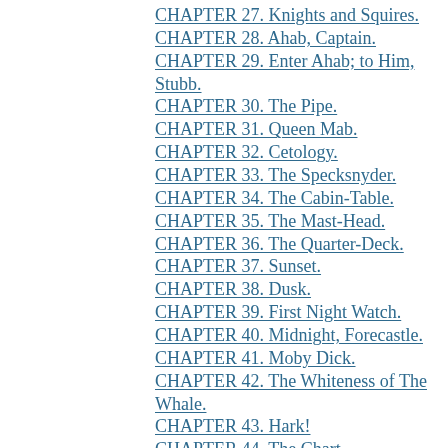CHAPTER 27. Knights and Squires.
CHAPTER 28. Ahab, Captain.
CHAPTER 29. Enter Ahab; to Him, Stubb.
CHAPTER 30. The Pipe.
CHAPTER 31. Queen Mab.
CHAPTER 32. Cetology.
CHAPTER 33. The Specksnyder.
CHAPTER 34. The Cabin-Table.
CHAPTER 35. The Mast-Head.
CHAPTER 36. The Quarter-Deck.
CHAPTER 37. Sunset.
CHAPTER 38. Dusk.
CHAPTER 39. First Night Watch.
CHAPTER 40. Midnight, Forecastle.
CHAPTER 41. Moby Dick.
CHAPTER 42. The Whiteness of The Whale.
CHAPTER 43. Hark!
CHAPTER 44. The Chart.
CHAPTER 45. The Affidavit.